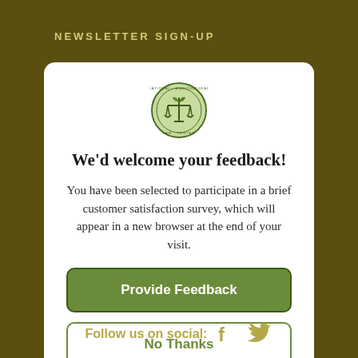NEWSLETTER SIGN-UP
[Figure (logo): National Agricultural Law Center circular logo with scales of justice and a plant/leaf motif]
We'd welcome your feedback!
You have been selected to participate in a brief customer satisfaction survey, which will appear in a new browser at the end of your visit.
Provide Feedback
No Thanks
Follow us on social: